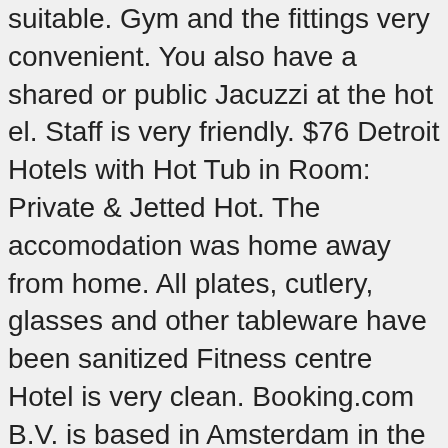suitable. Gym and the Fittings very convenient. You also have a shared or public Jacuzzi at the hot el. Staff is very friendly. $76 Detroit Hotels with Hot Tub in Room: Private & Jetted Hot. The accomodation was home away from home. All plates, cutlery, glasses and other tableware have been sanitized Fitness centre Hotel is very clean. Booking.com B.V. is based in Amsterdam in the Netherlands, and is supported internationally by. Everyone was very helpful. As one of the finest AA approved hotels in Galway, our goal is to ensure our guests are as efficient on the road as they are in their offices or at home. Our room was even more delightful than we expected from the photos. The apartment features 2 bedrooms, a flat-screen TV, an equipped kitchen with a dishwasher and a microwave, a washing machine, and 1 bathroom with a hot tub. We enjoyed our stay extremely and would definitely stay there again when I revisit London. In the city that usually has everything,